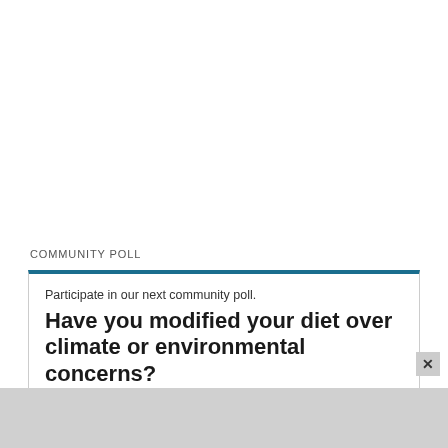COMMUNITY POLL
Participate in our next community poll.
Have you modified your diet over climate or environmental concerns?
view related story
No, I'm one person/family – I don't matter